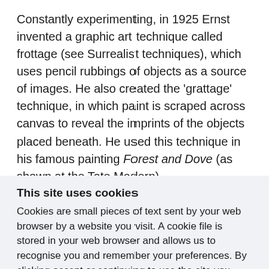Constantly experimenting, in 1925 Ernst invented a graphic art technique called frottage (see Surrealist techniques), which uses pencil rubbings of objects as a source of images. He also created the 'grattage' technique, in which paint is scraped across canvas to reveal the imprints of the objects placed beneath. He used this technique in his famous painting Forest and Dove (as shown at the Tate Modern). The next year he collaborated with Joan Miró on designs for...
This site uses cookies
Cookies are small pieces of text sent by your web browser by a website you visit. A cookie file is stored in your web browser and allows us to recognise you and remember your preferences. By clicking accept or continuing to use the site you agree to our use of cookies. Find out more.
Accept
Decline
Manage settings